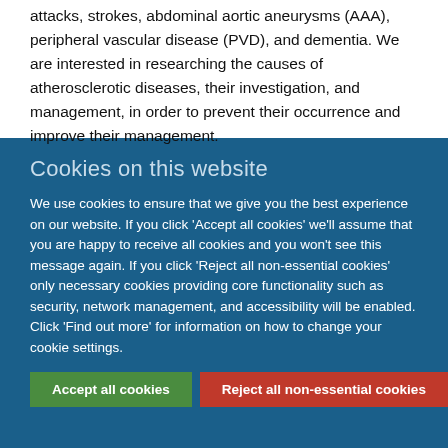attacks, strokes, abdominal aortic aneurysms (AAA), peripheral vascular disease (PVD), and dementia. We are interested in researching the causes of atherosclerotic diseases, their investigation, and management, in order to prevent their occurrence and improve their management.
Cookies on this website
We use cookies to ensure that we give you the best experience on our website. If you click 'Accept all cookies' we'll assume that you are happy to receive all cookies and you won't see this message again. If you click 'Reject all non-essential cookies' only necessary cookies providing core functionality such as security, network management, and accessibility will be enabled. Click 'Find out more' for information on how to change your cookie settings.